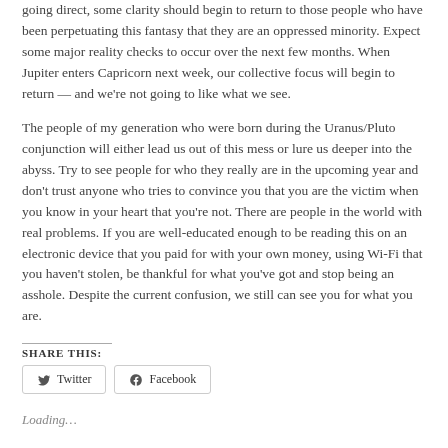going direct, some clarity should begin to return to those people who have been perpetuating this fantasy that they are an oppressed minority. Expect some major reality checks to occur over the next few months. When Jupiter enters Capricorn next week, our collective focus will begin to return — and we're not going to like what we see.
The people of my generation who were born during the Uranus/Pluto conjunction will either lead us out of this mess or lure us deeper into the abyss. Try to see people for who they really are in the upcoming year and don't trust anyone who tries to convince you that you are the victim when you know in your heart that you're not. There are people in the world with real problems. If you are well-educated enough to be reading this on an electronic device that you paid for with your own money, using Wi-Fi that you haven't stolen, be thankful for what you've got and stop being an asshole. Despite the current confusion, we still can see you for what you are.
SHARE THIS:
Twitter
Facebook
Loading...